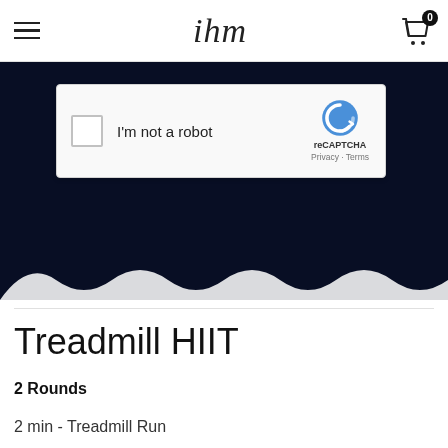ihm — navigation header with hamburger menu and cart (0 items)
[Figure (screenshot): Dark navy banner with reCAPTCHA dialog overlay showing checkbox, 'I'm not a robot' text, reCAPTCHA logo, and Privacy/Terms links. White scalloped arches visible at bottom of banner.]
Treadmill HIIT
2 Rounds
2 min - Treadmill Run